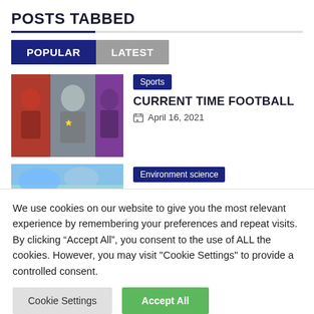POSTS TABBED
POPULAR   LATEST
[Figure (photo): Collage of three football players/people photos side by side]
Sports
CURRENT TIME FOOTBALL
April 16, 2021
[Figure (photo): Partial image of a sports/environment scene]
Environment science
We use cookies on our website to give you the most relevant experience by remembering your preferences and repeat visits. By clicking “Accept All”, you consent to the use of ALL the cookies. However, you may visit "Cookie Settings" to provide a controlled consent.
Cookie Settings   Accept All